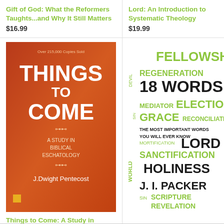Gift of God: What the Reformers Taughts...and Why It Still Matters
$16.99
Lord: An Introduction to Systematic Theology
$19.99
[Figure (illustration): Book cover of 'Things to Come: A Study in Biblical Eschatology' by J. Dwight Pentecost. Orange/red gradient background with large white text.]
Things to Come: A Study in Biblical Eschatology
$15.99
[Figure (illustration): Word cloud book cover for '18 Words' by J.I. Packer, featuring theological terms like Fellowship, Regeneration, Faith, Election, Grace, Reconciliation, Sanctification, Holiness, Lord, Justification, Scripture, Revelation in olive/black colors.]
18 Words
$7.99